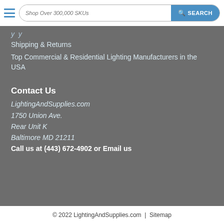[Figure (screenshot): Website header with hamburger menu icon and search bar reading 'Shop Over 300,000 SKUs' with a blue SEARCH button]
Shipping & Returns
Top Commercial & Residential Lighting Manufacturers in the USA
Contact Us
LightingAndSupplies.com
1750 Union Ave.
Rear Unit K
Baltimore MD 21211
Call us at (443) 672-4902 or Email us
© 2022 LightingAndSupplies.com | Sitemap